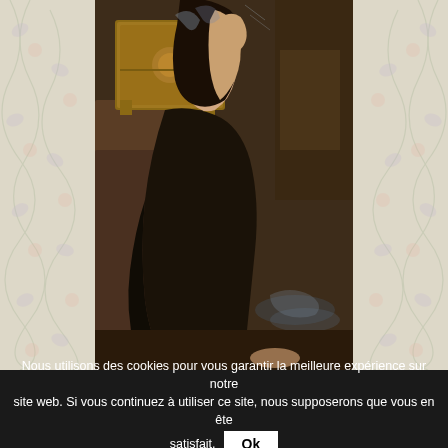[Figure (illustration): A painting of a woman in a dark dress, seen from behind, kneeling or standing before an ornate golden chest or box. She appears to be opening or holding the lid. The background is dark and atmospheric with stone textures. This appears to be a depiction of Pandora opening her box, in the style of a Pre-Raphaelite painting. The painting is framed by floral wallpaper pattern visible on the left and right sides.]
Nous utilisons des cookies pour vous garantir la meilleure expérience sur notre site web. Si vous continuez à utiliser ce site, nous supposerons que vous en êtes satisfait. Ok